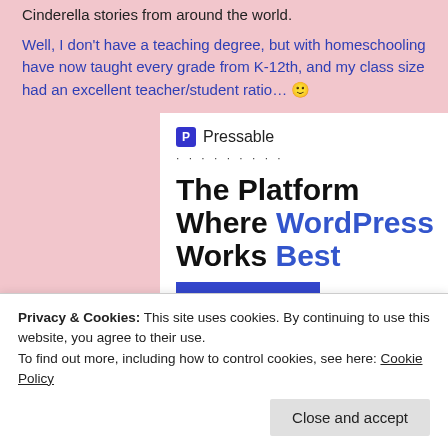Cinderella stories from around the world.
Well, I don't have a teaching degree, but with homeschooling have now taught every grade from K-12th, and my class size had an excellent teacher/student ratio… 🙂
[Figure (screenshot): Pressable advertisement banner: logo with 'P' icon, dots, headline 'The Platform Where WordPress Works Best', SEE PRICING button]
Privacy & Cookies: This site uses cookies. By continuing to use this website, you agree to their use.
To find out more, including how to control cookies, see here: Cookie Policy
Close and accept